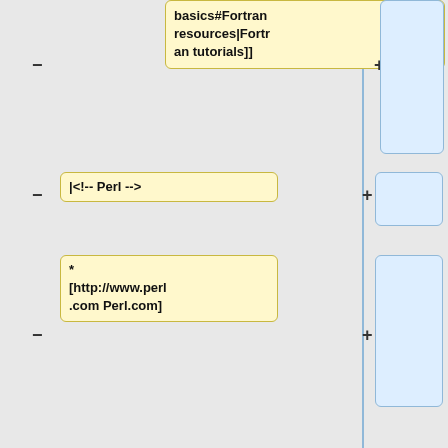basics#Fortran resources|Fortran tutorials]]
|<!-- Perl -->
* [http://www.perl.com Perl.com]
* [http://www.perl.org/books/beginning-perl/ "Beginning Perl" by Simon Cozens (free online book)]
* [http://backpan.perl.org/authors/id/Q/QU/QUONG/perlin20.html